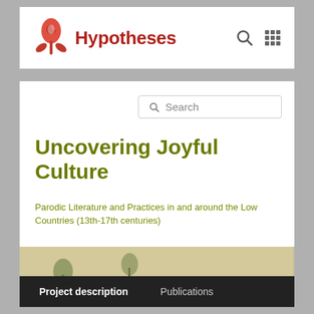[Figure (logo): Hypotheses platform logo: red flower/tulip icon with site name 'Hypotheses' in dark red bold text, search icon and grid icon on the right]
[Figure (screenshot): Search bar with magnifying glass icon and placeholder text 'Search']
Uncovering Joyful Culture
Parodic Literature and Practices in and around the Low Countries (13th-17th centuries)
[Figure (illustration): Horizontal banner showing a detailed historical engraving/drawing depicting a crowded scene with many figures, wagons, wheels, and festive/chaotic activity in a medieval/early modern style]
Project description
Publications